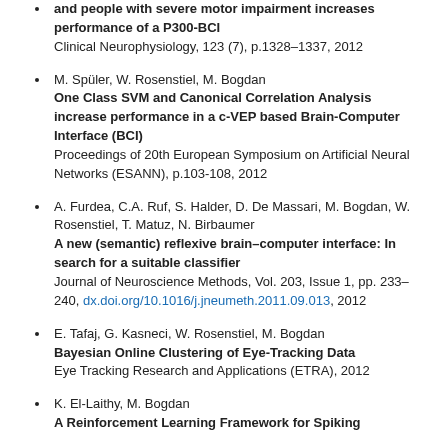and people with severe motor impairment increases performance of a P300-BCI
Clinical Neurophysiology, 123 (7), p.1328–1337, 2012
M. Spüler, W. Rosenstiel, M. Bogdan
One Class SVM and Canonical Correlation Analysis increase performance in a c-VEP based Brain-Computer Interface (BCI)
Proceedings of 20th European Symposium on Artificial Neural Networks (ESANN), p.103-108, 2012
A. Furdea, C.A. Ruf, S. Halder, D. De Massari, M. Bogdan, W. Rosenstiel, T. Matuz, N. Birbaumer
A new (semantic) reflexive brain–computer interface: In search for a suitable classifier
Journal of Neuroscience Methods, Vol. 203, Issue 1, pp. 233–240, dx.doi.org/10.1016/j.jneumeth.2011.09.013, 2012
E. Tafaj, G. Kasneci, W. Rosenstiel, M. Bogdan
Bayesian Online Clustering of Eye-Tracking Data
Eye Tracking Research and Applications (ETRA), 2012
K. El-Laithy, M. Bogdan
A Reinforcement Learning Framework for Spiking